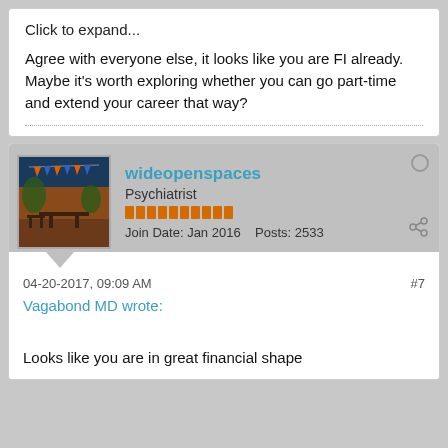Click to expand...
Agree with everyone else, it looks like you are FI already. Maybe it's worth exploring whether you can go part-time and extend your career that way?
wideopenspaces
Psychiatrist
Join Date: Jan 2016    Posts: 2533
04-20-2017, 09:09 AM
#7
Vagabond MD wrote:
Looks like you are in great financial shape